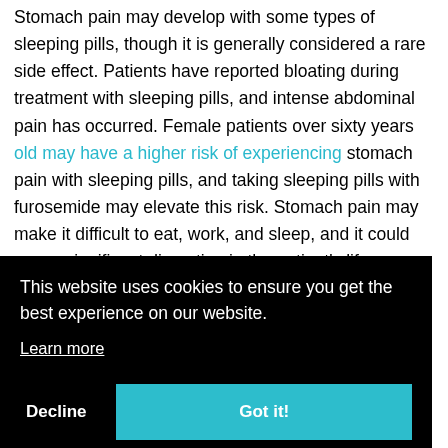Stomach pain may develop with some types of sleeping pills, though it is generally considered a rare side effect. Patients have reported bloating during treatment with sleeping pills, and intense abdominal pain has occurred. Female patients over sixty years old may have a higher risk of experiencing stomach pain with sleeping pills, and taking sleeping pills with furosemide may elevate this risk. Stomach pain may make it difficult to eat, work, and sleep, and it could cause significant disruption in the patient's life. Patients who experience stomach pain may wish to [cookie overlay obscures content] ...r the ...ces the ...tient ...f this ...specially important to see a healthcare provider if stomach pain is
[Figure (screenshot): Cookie consent overlay on a black background with text 'This website uses cookies to ensure you get the best experience on our website.' A 'Learn more' link, a 'Decline' button, and a teal 'Got it!' button.]